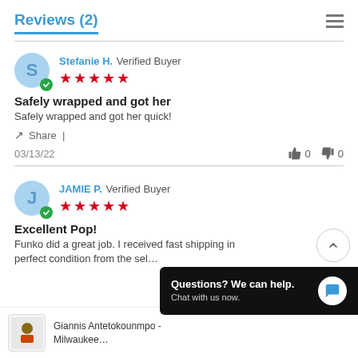Reviews (2)
Stefanie H. Verified Buyer ★★★★★
Safely wrapped and got her
Safely wrapped and got her quick!
Share | 03/13/22   👍 0  👎 0
JAMIE P. Verified Buyer ★★★★★
Excellent Pop!
Funko did a great job. I received fast shipping in perfect condition from the sel…
Questions? We can help. Chat with us now.
Giannis Antetokounmpo - Milwaukee…